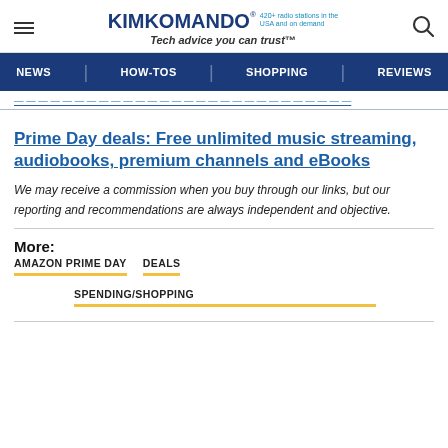KIMKOMANDO® 420+ radio stations in the USA and on demand Tech advice you can trust™
NEWS | HOW-TOS | SHOPPING | REVIEWS
Prime Day deals: Free unlimited music streaming, audiobooks, premium channels and eBooks
We may receive a commission when you buy through our links, but our reporting and recommendations are always independent and objective.
More: AMAZON PRIME DAY  DEALS  SPENDING/SHOPPING